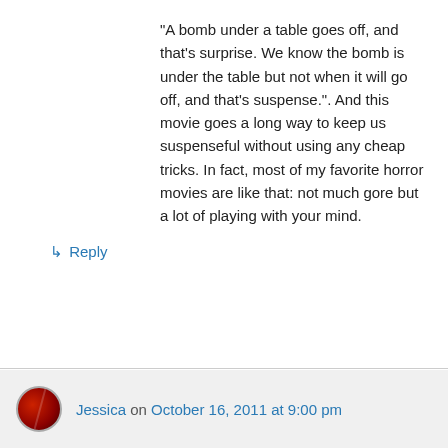“A bomb under a table goes off, and that’s surprise. We know the bomb is under the table but not when it will go off, and that’s suspense.”. And this movie goes a long way to keep us suspenseful without using any cheap tricks. In fact, most of my favorite horror movies are like that: not much gore but a lot of playing with your mind.
↳ Reply
Jessica on October 16, 2011 at 9:00 pm
Exactly my opinion. It’s perfectly doable to do make movies that scare you well enough without chopping off peoples heads